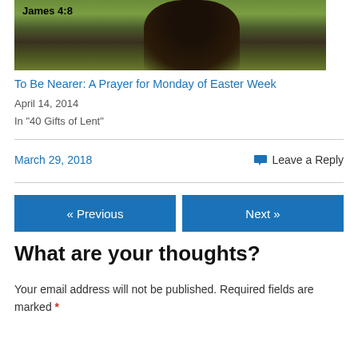[Figure (photo): Outdoor photo showing a large dark tree trunk or statue with green foliage background, overlaid with bold text 'James 4:8']
To Be Nearer: A Prayer for Monday of Easter Week
April 14, 2014
In "40 Gifts of Lent"
March 29, 2018
Leave a Reply
« Previous
Next »
What are your thoughts?
Your email address will not be published. Required fields are marked *